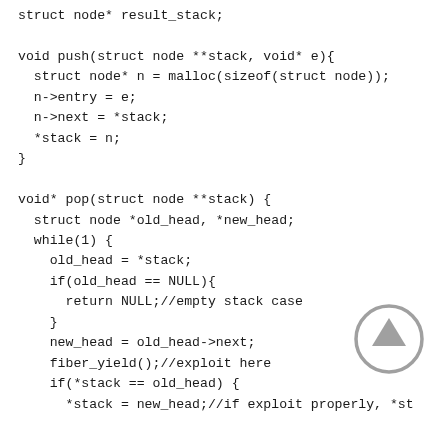struct node* result_stack;

void push(struct node **stack, void* e){
  struct node* n = malloc(sizeof(struct node));
  n->entry = e;
  n->next = *stack;
  *stack = n;
}

void* pop(struct node **stack) {
  struct node *old_head, *new_head;
  while(1) {
    old_head = *stack;
    if(old_head == NULL){
      return NULL;//empty stack case
    }
    new_head = old_head->next;
    fiber_yield();//exploit here
    if(*stack == old_head) {
      *stack = new_head;//if exploit properly, *st
[Figure (illustration): A grey circular arrow icon pointing upward, used as a scroll-to-top or upload button indicator.]